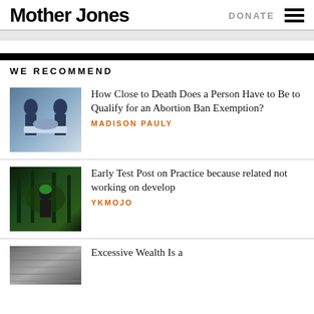Mother Jones | DONATE
WE RECOMMEND
[Figure (photo): Two nurses in scrubs pushing a patient on a hospital gurney]
How Close to Death Does a Person Have to Be to Qualify for an Abortion Ban Exemption?
MADISON PAULY
[Figure (photo): Person with green hair in a forest setting surrounded by dark foliage]
Early Test Post on Practice because related not working on develop
YKMOJO
[Figure (photo): Dark textured background, partial view]
Excessive Wealth Is a